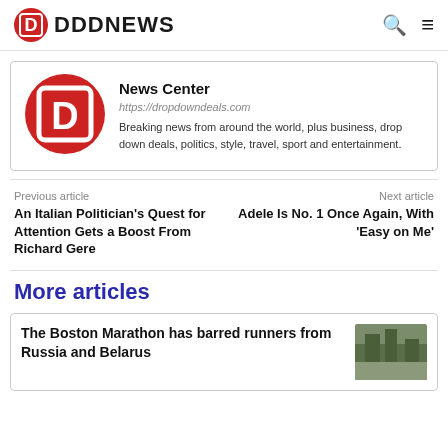DDDNEWS
[Figure (logo): DDD News circular red logo with white D letters]
News Center
https://dropdowndeals.com
Breaking news from around the world, plus business, drop down deals, politics, style, travel, sport and entertainment.
Previous article
An Italian Politician's Quest for Attention Gets a Boost From Richard Gere
Next article
Adele Is No. 1 Once Again, With 'Easy on Me'
More articles
The Boston Marathon has barred runners from Russia and Belarus